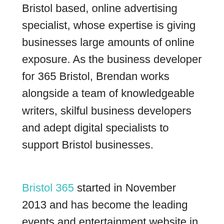Bristol based, online advertising specialist, whose expertise is giving businesses large amounts of online exposure. As the business developer for 365 Bristol, Brendan works alongside a team of knowledgeable writers, skilful business developers and adept digital specialists to support Bristol businesses.
Bristol 365 started in November 2013 and has become the leading events and entertainment website in Bristol. With a mission to focus purely on the events and entertainment, Bristol 365 stays away from clickbait traffic of when it's going to snow and party politics, choosing instead to concentrate on parties,